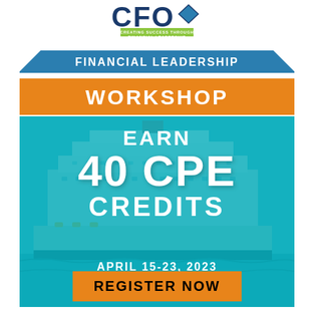[Figure (logo): CFO logo with diamond/arrow icon and tagline 'CREATING SUCCESS THROUGH FINANCIAL LEADERSHIP' on green banner]
FINANCIAL LEADERSHIP
WORKSHOP
EARN 40 CPE CREDITS
APRIL 15-23, 2023
REGISTER NOW